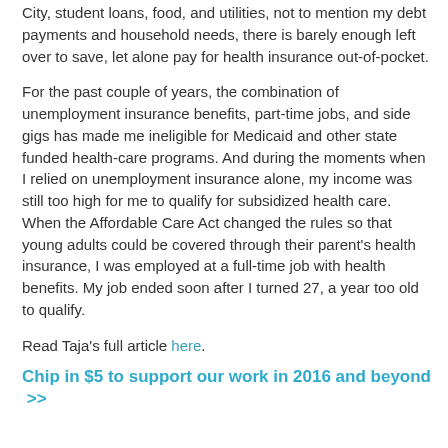City, student loans, food, and utilities, not to mention my debt payments and household needs, there is barely enough left over to save, let alone pay for health insurance out-of-pocket.
For the past couple of years, the combination of unemployment insurance benefits, part-time jobs, and side gigs has made me ineligible for Medicaid and other state funded health-care programs. And during the moments when I relied on unemployment insurance alone, my income was still too high for me to qualify for subsidized health care. When the Affordable Care Act changed the rules so that young adults could be covered through their parent's health insurance, I was employed at a full-time job with health benefits. My job ended soon after I turned 27, a year too old to qualify.
Read Taja's full article here.
Chip in $5 to support our work in 2016 and beyond  >>